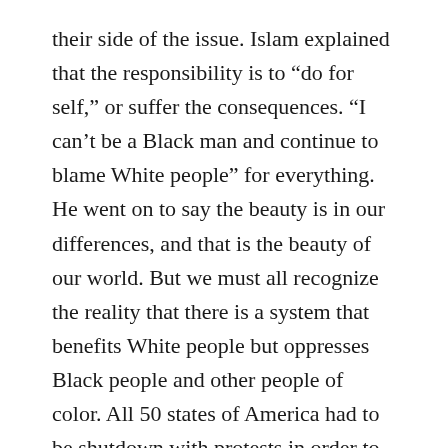their side of the issue. Islam explained that the responsibility is to “do for self,” or suffer the consequences. “I can’t be a Black man and continue to blame White people” for everything. He went on to say the beauty is in our differences, and that is the beauty of our world. But we must all recognize the reality that there is a system that benefits White people but oppresses Black people and other people of color. All 50 states of America had to be shutdown with protests in order to compel the arrest of the officers who murdered George Floyd, even when the murder was caught on video! Color blindness is unnecessary and disrespectful, we need to acknowledge and respect the differences.
Del Bigtree then showed a clip of two White “protesters” spray painting “BLM” (for Black Lives